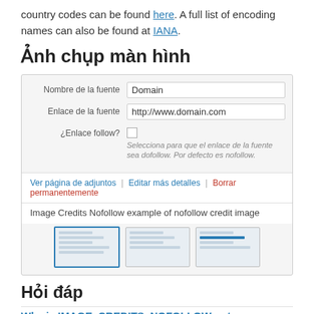country codes can be found here. A full list of encoding names can also be found at IANA.
Ảnh chụp màn hình
[Figure (screenshot): Screenshot of a WordPress-like admin form with fields: Nombre de la fuente (Domain), Enlace de la fuente (http://www.domain.com), ¿Enlace follow? (checkbox), hint text in Spanish about dofollow/nofollow. Action bar with links: Ver página de adjuntos, Editar más detalles, Borrar permanentemente. Credit label: Image Credits Nofollow example of nofollow credit image. Three thumbnail images shown below.]
Hỏi đáp
Why is IMAGE_CREDITS_NOFOLLOW not...